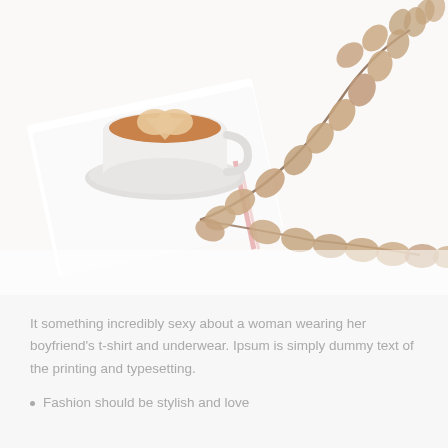[Figure (photo): Flat-lay lifestyle photo on a white background. A white ceramic cup of latte art coffee sits on a saucer on top of white books/magazines in the upper left. A long trailing branch of dried eucalyptus with round tan/brown leaves stretches diagonally from the center-left toward the upper right and lower right of the frame.]
It something incredibly sexy about a woman wearing her boyfriend's t-shirt and underwear. Ipsum is simply dummy text of the printing and typesetting.
Fashion should be stylish and love